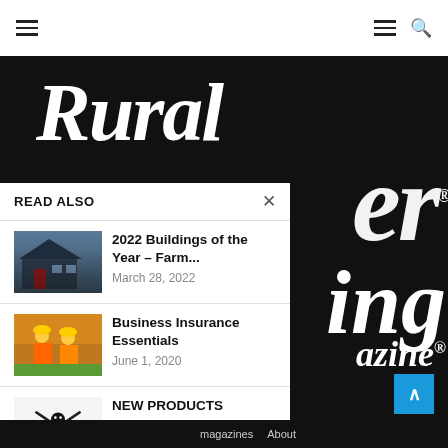Navigation bar with hamburger menu and search icon
[Figure (logo): Rural magazine logo in white bold italic serif font on dark background, with partial letters 'er', 'ing', 'azine.' visible]
READ ALSO
[Figure (photo): Photo of a dark blue-grey farm building with red door]
2022 Buildings of the Year – Farm...
March 28, 2022
[Figure (photo): Photo of construction workers in safety vests]
Business Insurance Essentials
June 1, 2020
[Figure (photo): Photo of a tool product (black and orange tool)]
NEW PRODUCTS
April 1, 2021
magazines   About